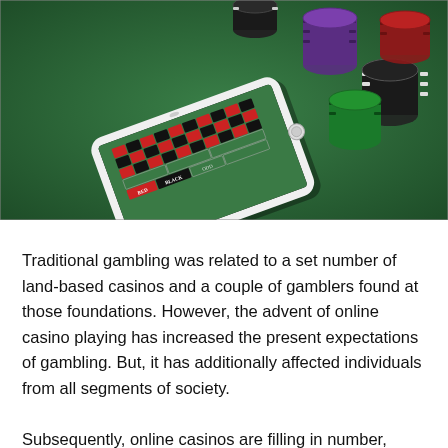[Figure (photo): A smartphone displaying a roulette betting table app, surrounded by stacks of casino chips (red, black, white, green, purple) on a green felt surface.]
Traditional gambling was related to a set number of land-based casinos and a couple of gamblers found at those foundations. However, the advent of online casino playing has increased the present expectations of gambling. But, it has additionally affected individuals from all segments of society.
Subsequently, online casinos are filling in number, confronting...